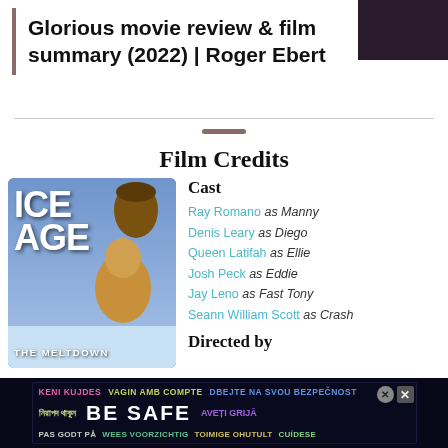Glorious movie review & film summary (2022) | Roger Ebert
Film Credits
[Figure (illustration): Ice Age: The Meltdown animated movie poster showing characters including Scrat the squirrel and a mammoth, with blue/purple background]
Cast
Ray Romano as Manny
Denis Leary as Diego
Queen Latifah as Ellie
Josh Peck as Eddie
Jay Leno as Fast Tony
Seann William Scott as Crash
Directed by
[Figure (other): BE SAFE advertisement banner in multiple languages including Bengali, Romanian, Spanish, Italian, Finnish and others]